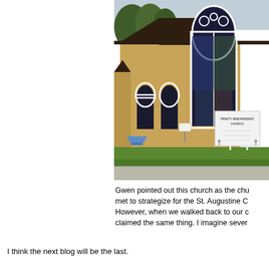[Figure (photo): Photo of Trinity Independent Church, a brick building with white-framed arched stained glass windows, blue steps, a church sign, and green lawn in front.]
Gwen pointed out this church as the chu met to strategize for the St. Augustine C However, when we walked back to our c claimed the same thing. I imagine sever
I think the next blog will be the last.